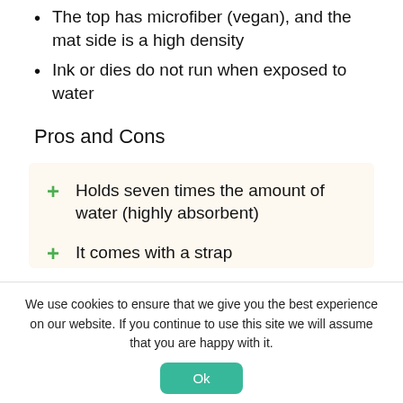The top has microfiber (vegan), and the mat side is a high density
Ink or dies do not run when exposed to water
Pros and Cons
+ Holds seven times the amount of water (highly absorbent)
+ It comes with a strap
We use cookies to ensure that we give you the best experience on our website. If you continue to use this site we will assume that you are happy with it.